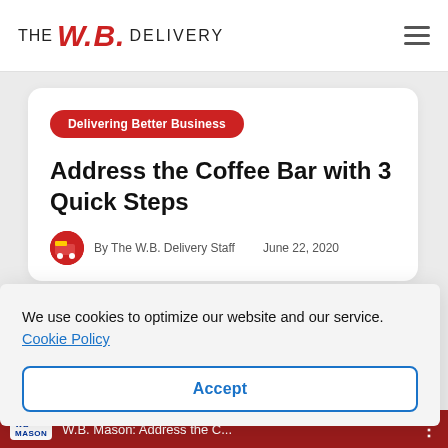THE W.B. DELIVERY
Delivering Better Business
Address the Coffee Bar with 3 Quick Steps
By The W.B. Delivery Staff   June 22, 2020
We use cookies to optimize our website and our service.  Cookie Policy
Accept
W.B. Mason: Address the C...